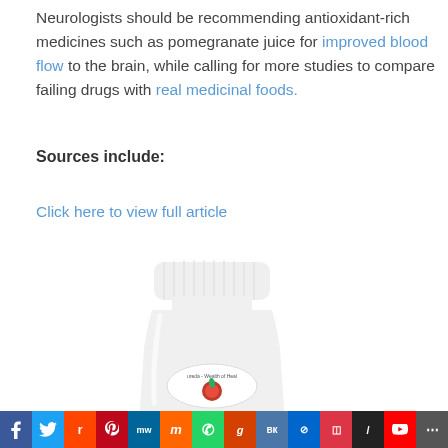Neurologists should be recommending antioxidant-rich medicines such as pomegranate juice for improved blood flow to the brain, while calling for more studies to compare failing drugs with real medicinal foods.
Sources include:
Click here to view full article
[Figure (photo): White supplement/pill bottle with a label showing a pomegranate graphic and text 'Wealth of Health']
[Figure (infographic): Social media sharing bar with icons for Facebook, Twitter, Reddit, Pinterest, MeWe, Mix, WhatsApp, Gab, VK, Parler, Outlook, Slashdot, YouTube, Share]